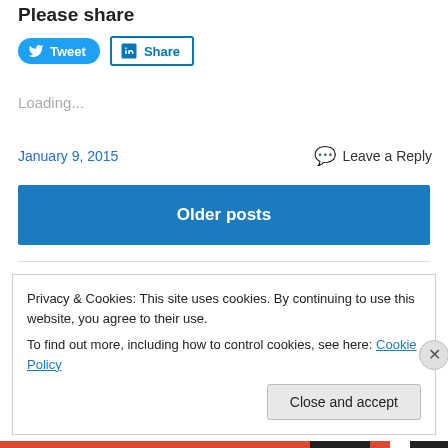Please share
[Figure (other): Social share buttons: Tweet (Twitter) and Share (LinkedIn)]
Loading...
January 9, 2015  Leave a Reply
Older posts
Privacy & Cookies: This site uses cookies. By continuing to use this website, you agree to their use.
To find out more, including how to control cookies, see here: Cookie Policy
Close and accept